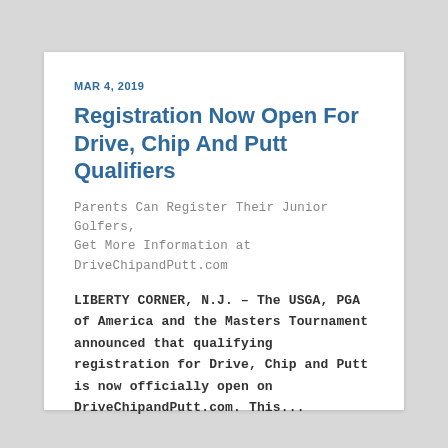MAR 4, 2019
Registration Now Open For Drive, Chip And Putt Qualifiers
Parents Can Register Their Junior Golfers, Get More Information at DriveChipandPutt.com
LIBERTY CORNER, N.J. – The USGA, PGA of America and the Masters Tournament announced that qualifying registration for Drive, Chip and Putt is now officially open on DriveChipandPutt.com. This...